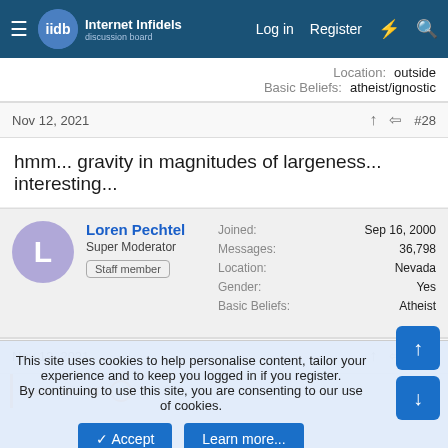Internet Infidels — Log in | Register
Location: outside
Basic Beliefs: atheist/ignostic
Nov 12, 2021  #28
hmm... gravity in magnitudes of largeness... interesting...
Loren Pechtel
Super Moderator
Staff member
Joined: Sep 16, 2000
Messages: 36,798
Location: Nevada
Gender: Yes
Basic Beliefs: Atheist
Nov 12, 2021  #29
lpetrich said:
This site uses cookies to help personalise content, tailor your experience and to keep you logged in if you register.
By continuing to use this site, you are consenting to our use of cookies.
Accept  Learn more...